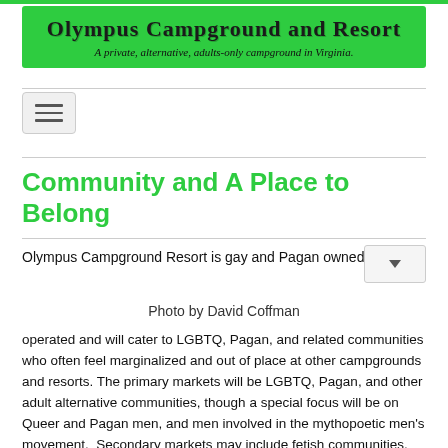Olympus Campground and Resort — A private, alternative, adults-only campground in Virginia.
Community and A Place to Belong
Olympus Campground Resort is gay and Pagan owned and
Photo by David Coffman
operated and will cater to LGBTQ, Pagan, and related communities who often feel marginalized and out of place at other campgrounds and resorts. The primary markets will be LGBTQ, Pagan, and other adult alternative communities, though a special focus will be on Queer and Pagan men, and men involved in the mythopoetic men's movement.  Secondary markets may include fetish communities, polyamorous folks, sci-fi / fantasy groups, and so on.